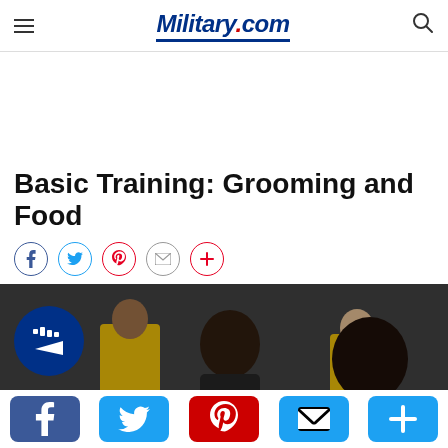Military.com
Basic Training: Grooming and Food
[Figure (photo): Photo of a woman with dark hair in a black top holding a blue hose/tube, with people in yellow shirts in the background. A blue circular play button overlay is on the left side.]
Social share bar: Facebook, Twitter, Pinterest, Email, More